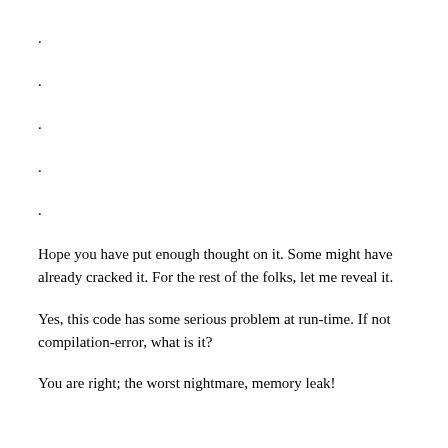.
.
.
.
.
Hope you have put enough thought on it. Some might have already cracked it. For the rest of the folks, let me reveal it.
Yes, this code has some serious problem at run-time. If not compilation-error, what is it?
You are right; the worst nightmare, memory leak!